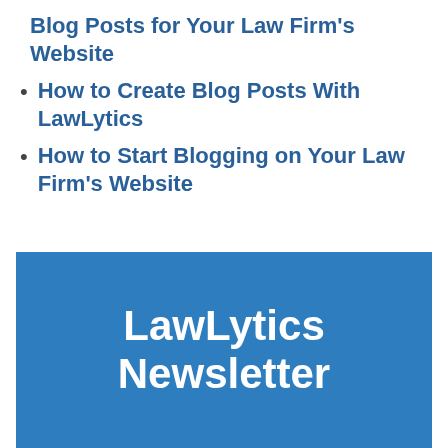Blog Posts for Your Law Firm's Website
How to Create Blog Posts With LawLytics
How to Start Blogging on Your Law Firm's Website
[Figure (infographic): Blue banner box with white bold text reading 'LawLytics Newsletter']